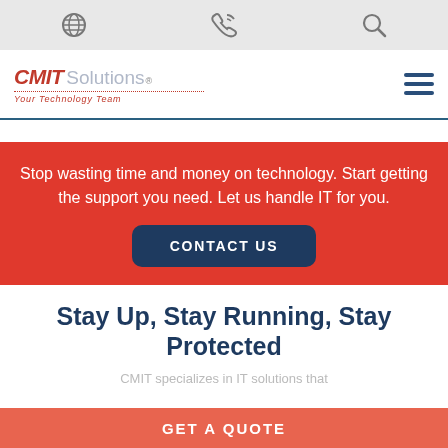[globe icon] [phone icon] [search icon]
[Figure (logo): CMIT Solutions logo with tagline 'Your Technology Team']
Stop wasting time and money on technology. Start getting the support you need. Let us handle IT for you.
CONTACT US
Stay Up, Stay Running, Stay Protected
GET A QUOTE
CMIT specializes in IT solutions that